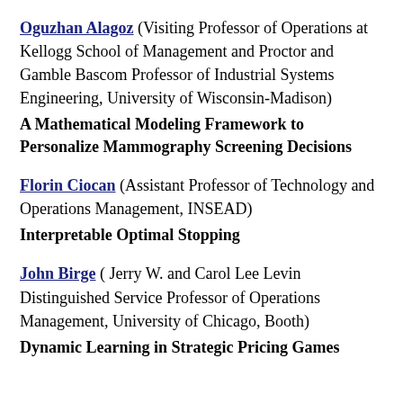Oguzhan Alagoz (Visiting Professor of Operations at Kellogg School of Management and Proctor and Gamble Bascom Professor of Industrial Systems Engineering, University of Wisconsin-Madison)
A Mathematical Modeling Framework to Personalize Mammography Screening Decisions
Florin Ciocan (Assistant Professor of Technology and Operations Management, INSEAD)
Interpretable Optimal Stopping
John Birge (Jerry W. and Carol Lee Levin Distinguished Service Professor of Operations Management, University of Chicago, Booth)
Dynamic Learning in Strategic Pricing Games